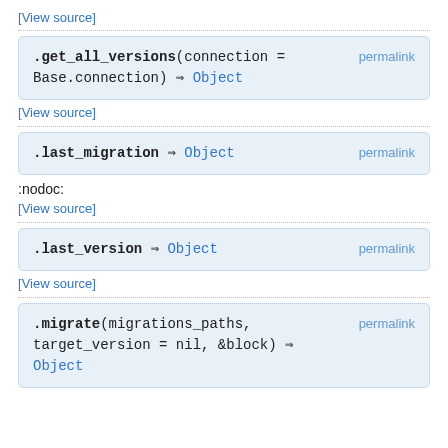[View source]
.get_all_versions(connection = Base.connection) ⇒ Object  permalink
[View source]
.last_migration ⇒ Object  permalink
:nodoc:
[View source]
.last_version ⇒ Object  permalink
[View source]
.migrate(migrations_paths, target_version = nil, &block) ⇒ Object  permalink